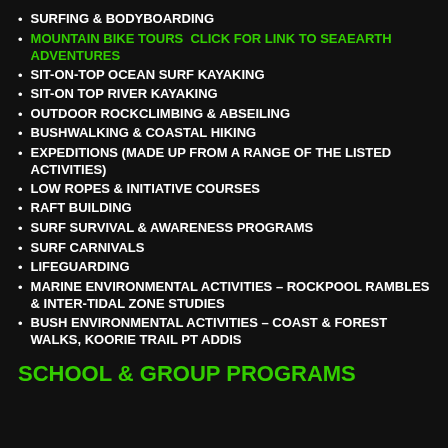SURFING & BODYBOARDING
MOUNTAIN BIKE TOURS  Click for link to SeaEarth Adventures
SIT-ON-TOP OCEAN SURF KAYAKING
SIT-ON TOP RIVER KAYAKING
OUTDOOR ROCKCLIMBING & ABSEILING
BUSHWALKING & COASTAL HIKING
EXPEDITIONS (MADE UP FROM A RANGE OF THE LISTED ACTIVITIES)
LOW ROPES & INITIATIVE COURSES
RAFT BUILDING
SURF SURVIVAL & AWARENESS PROGRAMS
SURF CARNIVALS
LIFEGUARDING
MARINE ENVIRONMENTAL ACTIVITIES – ROCKPOOL RAMBLES & INTER-TIDAL ZONE STUDIES
BUSH ENVIRONMENTAL ACTIVITIES – COAST & FOREST WALKS, KOORIE TRAIL PT ADDIS
SCHOOL & GROUP PROGRAMS